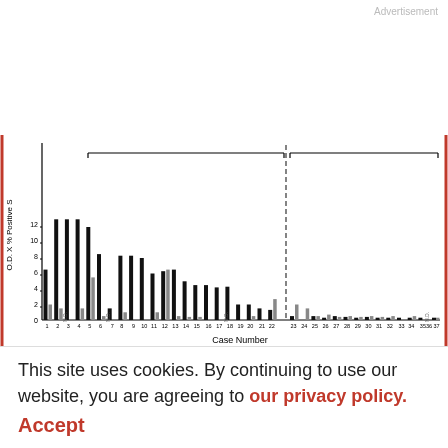Advertisement
[Figure (bar-chart): Chart A - ALK ELISA results by case number]
[Figure (bar-chart): Partial view of second bar chart showing ALK rearranged and ALK germline sections with legend showing ALK1]
This site uses cookies. By continuing to use our website, you are agreeing to our privacy policy.
Accept